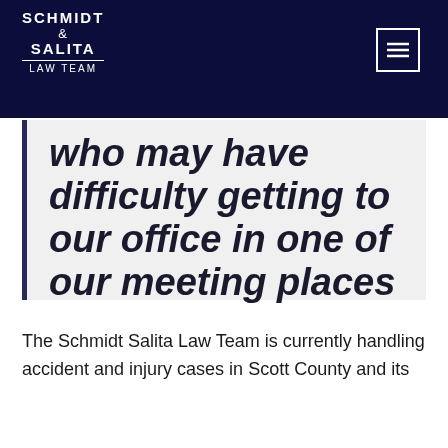SCHMIDT & SALITA LAW TEAM
who may have difficulty getting to our office in one of our meeting places in Shakopee.”
The Schmidt Salita Law Team is currently handling accident and injury cases in Scott County and its